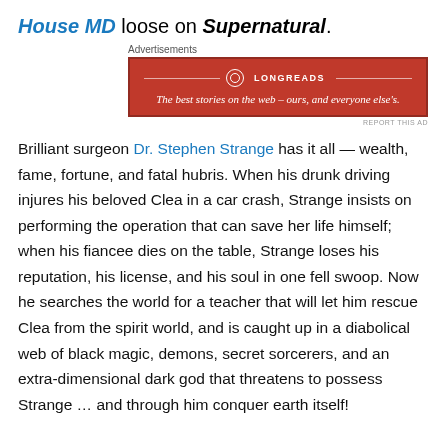House MD loose on Supernatural.
[Figure (other): Longreads advertisement banner: red background with logo and tagline 'The best stories on the web – ours, and everyone else's.']
Brilliant surgeon Dr. Stephen Strange has it all — wealth, fame, fortune, and fatal hubris. When his drunk driving injures his beloved Clea in a car crash, Strange insists on performing the operation that can save her life himself; when his fiancee dies on the table, Strange loses his reputation, his license, and his soul in one fell swoop. Now he searches the world for a teacher that will let him rescue Clea from the spirit world, and is caught up in a diabolical web of black magic, demons, secret sorcerers, and an extra-dimensional dark god that threatens to possess Strange … and through him conquer earth itself!